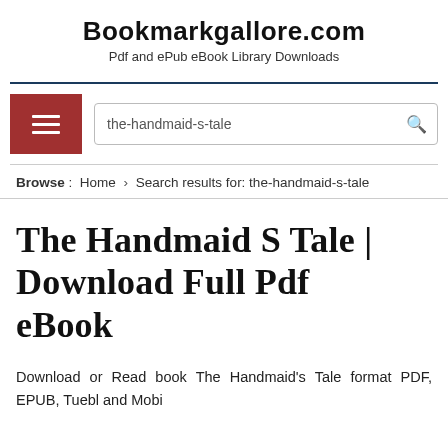Bookmarkgallore.com
Pdf and ePub eBook Library Downloads
[Figure (screenshot): Navigation bar with hamburger menu button and search input containing 'the-handmaid-s-tale']
Browse :  Home › Search results for: the-handmaid-s-tale
The Handmaid S Tale | Download Full Pdf eBook
Download or Read book The Handmaid's Tale format PDF, EPUB, Tuebl and Mobi for reading, like...